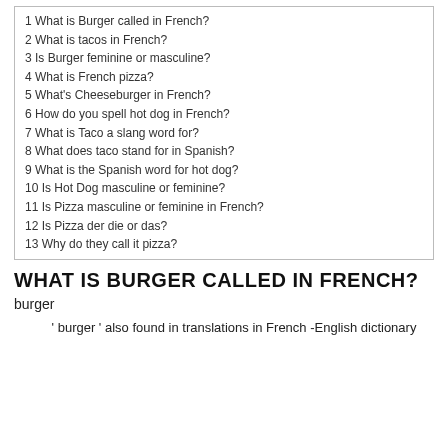1 What is Burger called in French?
2 What is tacos in French?
3 Is Burger feminine or masculine?
4 What is French pizza?
5 What's Cheeseburger in French?
6 How do you spell hot dog in French?
7 What is Taco a slang word for?
8 What does taco stand for in Spanish?
9 What is the Spanish word for hot dog?
10 Is Hot Dog masculine or feminine?
11 Is Pizza masculine or feminine in French?
12 Is Pizza der die or das?
13 Why do they call it pizza?
WHAT IS BURGER CALLED IN FRENCH?
burger
' burger ' also found in translations in French -English dictionary